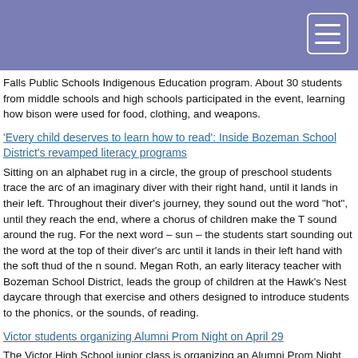Falls Public Schools Indigenous Education program. About 30 students from middle schools and high schools participated in the event, learning how bison were used for food, clothing, and weapons.
'Every child deserves to learn how to read': Inside Bozeman School District's revamped literacy programs
Sitting on an alphabet rug in a circle, the group of preschool students trace the arc of an imaginary diver with their right hand, until it lands in their left. Throughout their diver's journey, they sound out the word "hot", until they reach the end, where a chorus of children make the T sound around the rug. For the next word – sun – the students start sounding out the word at the top of their diver's arc until it lands in their left hand with the soft thud of the n sound. Megan Roth, an early literacy teacher with Bozeman School District, leads the group of children at the Hawk's Nest daycare through that exercise and others designed to introduce students to the phonics, or the sounds, of reading.
Victor students organizing Alumni Prom Night on April 29
The Victor High School junior class is organizing an Alumni Prom Night on April 29, the night before their prom, and have invited all "oldsters" to enjoy the venue, the night and their decorating efforts. VHS class co-